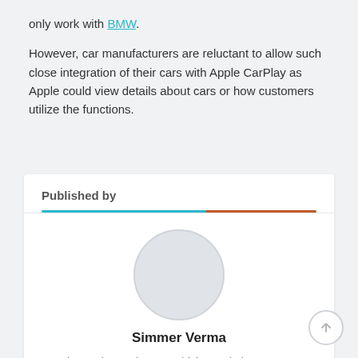only work with BMW. However, car manufacturers are reluctant to allow such close integration of their cars with Apple CarPlay as Apple could view details about cars or how customers utilize the functions.
Published by
[Figure (illustration): Circular avatar placeholder image (gray circle representing author photo)]
Simmer Verma
Simmer loves vintage vehicles and always stays inquisitive about happenings in the auto sector.